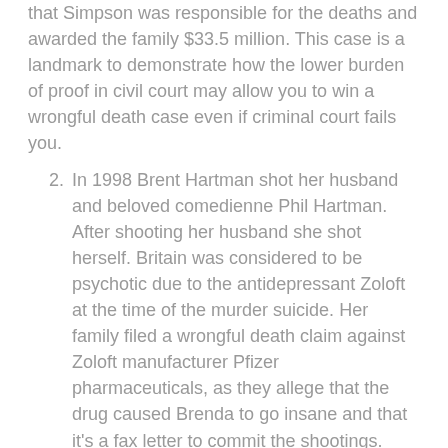that Simpson was responsible for the deaths and awarded the family $33.5 million. This case is a landmark to demonstrate how the lower burden of proof in civil court may allow you to win a wrongful death case even if criminal court fails you.
In 1998 Brent Hartman shot her husband and beloved comedienne Phil Hartman. After shooting her husband she shot herself. Britain was considered to be psychotic due to the antidepressant Zoloft at the time of the murder suicide. Her family filed a wrongful death claim against Zoloft manufacturer Pfizer pharmaceuticals, as they allege that the drug caused Brenda to go insane and that it's a fax letter to commit the shootings. Other wrongful death cases have been